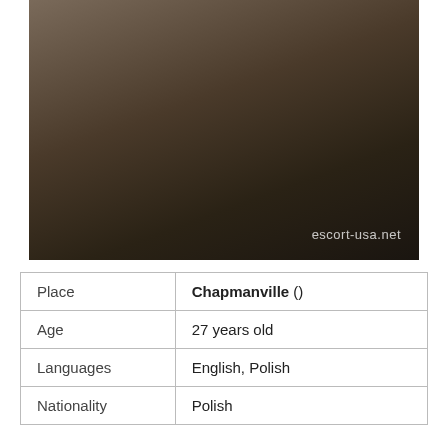[Figure (photo): A woman with curly blonde hair wearing black lingerie straps, standing in a decorative room setting. Watermark reads escort-usa.net.]
| Place | Chapmanville () |
| Age | 27 years old |
| Languages | English, Polish |
| Nationality | Polish |